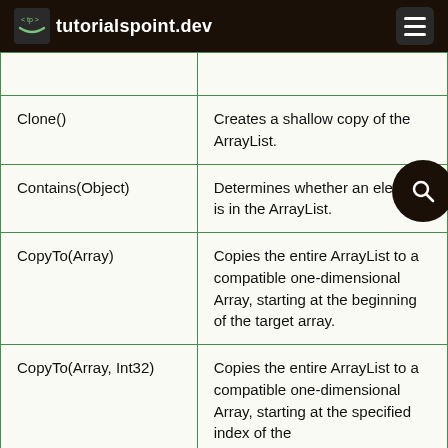tutorialspoint.dev
| Method | Description |
| --- | --- |
| Clone() | Creates a shallow copy of the ArrayList. |
| Contains(Object) | Determines whether an element is in the ArrayList. |
| CopyTo(Array) | Copies the entire ArrayList to a compatible one-dimensional Array, starting at the beginning of the target array. |
| CopyTo(Array, Int32) | Copies the entire ArrayList to a compatible one-dimensional Array, starting at the specified index of the |